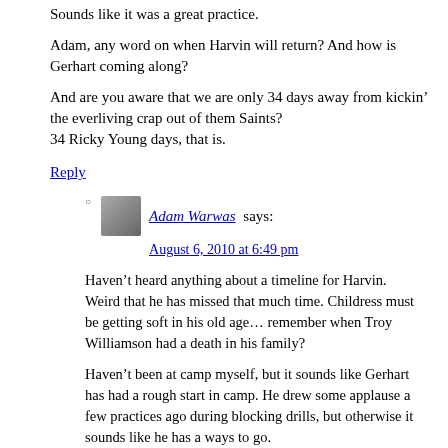Sounds like it was a great practice.
Adam, any word on when Harvin will return? And how is Gerhart coming along?
And are you aware that we are only 34 days away from kickin’ the everliving crap out of them Saints?
34 Ricky Young days, that is.
Reply
Adam Warwas says:
August 6, 2010 at 6:49 pm
Haven’t heard anything about a timeline for Harvin. Weird that he has missed that much time. Childress must be getting soft in his old age… remember when Troy Williamson had a death in his family?
Haven’t been at camp myself, but it sounds like Gerhart has had a rough start in camp. He drew some applause a few practices ago during blocking drills, but otherwise it sounds like he has a ways to go.
Reply